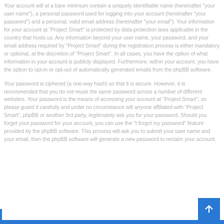Your account will at a bare minimum contain a uniquely identifiable name (hereinafter "your user name"), a personal password used for logging into your account (hereinafter "your password") and a personal, valid email address (hereinafter "your email"). Your information for your account at "Project Smart" is protected by data-protection laws applicable in the country that hosts us. Any information beyond your user name, your password, and your email address required by "Project Smart" during the registration process is either mandatory or optional, at the discretion of "Project Smart". In all cases, you have the option of what information in your account is publicly displayed. Furthermore, within your account, you have the option to opt-in or opt-out of automatically generated emails from the phpBB software.
Your password is ciphered (a one-way hash) so that it is secure. However, it is recommended that you do not reuse the same password across a number of different websites. Your password is the means of accessing your account at "Project Smart", so please guard it carefully and under no circumstance will anyone affiliated with "Project Smart", phpBB or another 3rd party, legitimately ask you for your password. Should you forget your password for your account, you can use the "I forgot my password" feature provided by the phpBB software. This process will ask you to submit your user name and your email, then the phpBB software will generate a new password to reclaim your account.